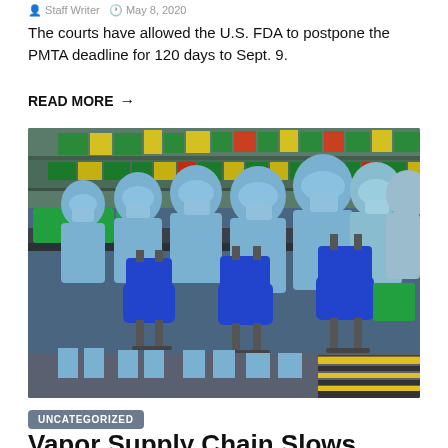Staff Writer  May 8, 2020
The courts have allowed the U.S. FDA to postpone the PMTA deadline for 120 days to Sept. 9.
READ MORE →
[Figure (photo): Workers in blue protective suits and masks seated at factory tables working on an assembly line, with green and yellow bins on shelves behind them and blue chairs.]
UNCATEGORIZED
Vapor Supply Chain Slows